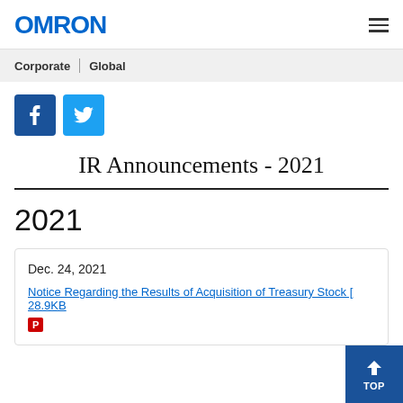OMRON
Corporate | Global
[Figure (other): Facebook and Twitter social share buttons]
IR Announcements - 2021
2021
Dec. 24, 2021
Notice Regarding the Results of Acquisition of Treasury Stock [ 28.9KB PDF